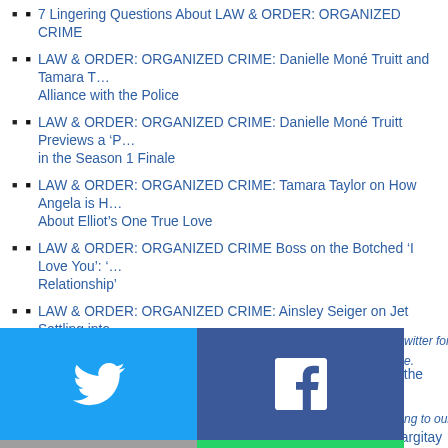7 Lingering Questions About LAW & ORDER: ORGANIZED CRIME
LAW & ORDER: ORGANIZED CRIME: Danielle Moné Truitt and Tamara T… Alliance with the Police
LAW & ORDER: ORGANIZED CRIME: Danielle Moné Truitt Previews a 'P… in the Season 1 Finale
LAW & ORDER: ORGANIZED CRIME: Tamara Taylor on How Angela is H… About Elliot's One True Love
LAW & ORDER: ORGANIZED CRIME Boss on the Botched 'I Love You': '… Relationship'
LAW & ORDER: ORGANIZED CRIME: Ainsley Seiger on Jet Settling into … with the Kathy Mystery
LAW & ORDER: ORGANIZED CRIME: Peter Scanavino on the Shadow T… and Stabler Dynamic
LAW & ORDER: SVU and ORGANIZED CRIME: Mariska Hargitay and Ch… Olivia and Elliot's Messy Reunion
[Figure (infographic): Social share buttons grid: Twitter (blue), Facebook (dark blue), Email (grey), WhatsApp (green), SMS (blue), More/share (green)]
witter for the latest TV … e.
ng to our YouTube cha…
ases made through lin…
: The Team Breaks Do…